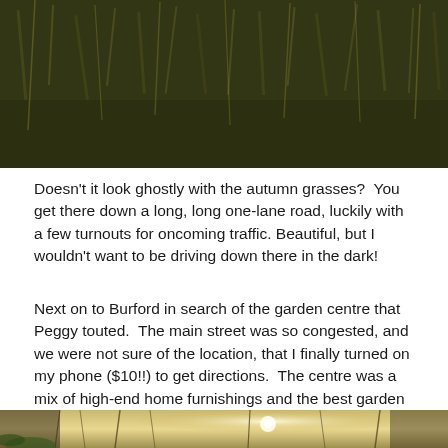[Figure (photo): Close-up photograph of autumn grasses, dark olive and brown tones, wild grass filling the frame.]
Doesn't it look ghostly with the autumn grasses?  You get there down a long, long one-lane road, luckily with a few turnouts for oncoming traffic. Beautiful, but I wouldn't want to be driving down there in the dark!
Next on to Burford in search of the garden centre that Peggy touted.  The main street was so congested, and we were not sure of the location, that I finally turned on my phone ($10!!) to get directions.  The centre was a mix of high-end home furnishings and the best garden shop in the world.
[Figure (photo): Partial view of a garden centre interior with hanging plants and decorative lighting visible at the bottom edge.]